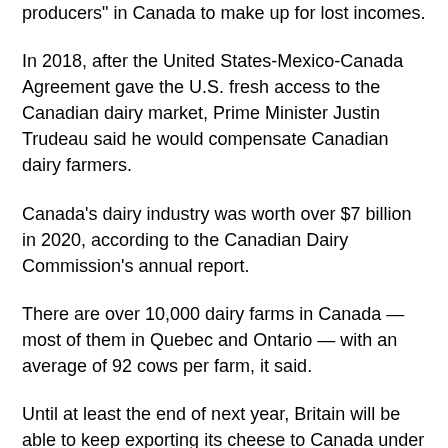producers" in Canada to make up for lost incomes.
In 2018, after the United States-Mexico-Canada Agreement gave the U.S. fresh access to the Canadian dairy market, Prime Minister Justin Trudeau said he would compensate Canadian dairy farmers.
Canada's dairy industry was worth over $7 billion in 2020, according to the Canadian Dairy Commission's annual report.
There are over 10,000 dairy farms in Canada — most of them in Quebec and Ontario — with an average of 92 cows per farm, it said.
Until at least the end of next year, Britain will be able to keep exporting its cheese to Canada under the trade continuity agreement, the U.K.'s trade department said.
This allows U.K. cheese exporters to access the Canadian market tariff-free under the EU